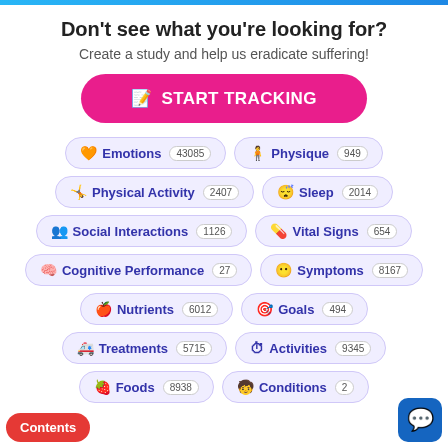Don't see what you're looking for?
Create a study and help us eradicate suffering!
[Figure (infographic): Pink rounded button labeled START TRACKING with an edit/pencil icon]
🧡 Emotions 43085
🧍 Physique 949
🤸 Physical Activity 2407
😴 Sleep 2014
👥 Social Interactions 1126
💊 Vital Signs 654
🧠 Cognitive Performance 27
😶 Symptoms 8167
🍎 Nutrients 6012
🎯 Goals 494
🚑 Treatments 5715
⏱ Activities 9345
🍓 Foods 8938
🧒 Conditions 2